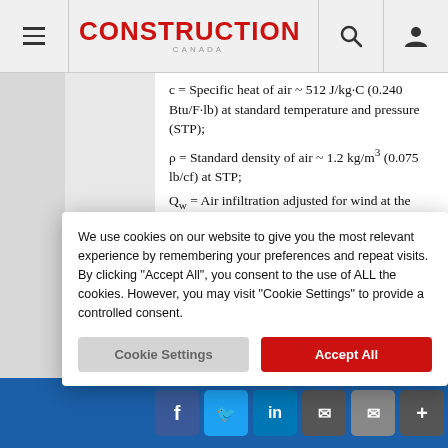Construction Canada — navigation bar with hamburger menu, logo, search and user icons
c = Specific heat of air ~ 512 J/kg·C (0.240 Btu/F·lb) at standard temperature and pressure (STP);
ρ = Standard density of air ~ 1.2 kg/m³ (0.075 lb/cf) at STP;
Q_w = Air infiltration adjusted for wind at the window face in L/s (cf/hr);
T_in = Interior ambient temperature target; and
T_out = Exterior ambient temperature.
We use cookies on our website to give you the most relevant experience by remembering your preferences and repeat visits. By clicking "Accept All", you consent to the use of ALL the cookies. However, you may visit "Cookie Settings" to provide a controlled consent.